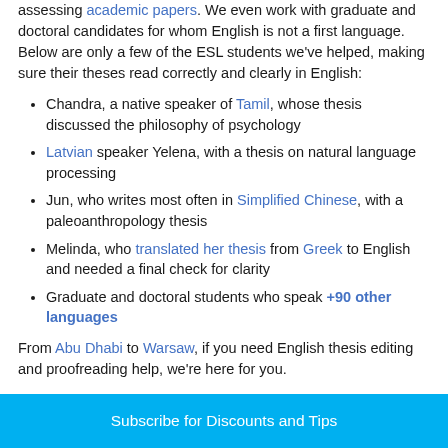assessing academic papers. We even work with graduate and doctoral candidates for whom English is not a first language. Below are only a few of the ESL students we've helped, making sure their theses read correctly and clearly in English:
Chandra, a native speaker of Tamil, whose thesis discussed the philosophy of psychology
Latvian speaker Yelena, with a thesis on natural language processing
Jun, who writes most often in Simplified Chinese, with a paleoanthropology thesis
Melinda, who translated her thesis from Greek to English and needed a final check for clarity
Graduate and doctoral students who speak +90 other languages
From Abu Dhabi to Warsaw, if you need English thesis editing and proofreading help, we're here for you.
Subscribe for Discounts and Tips